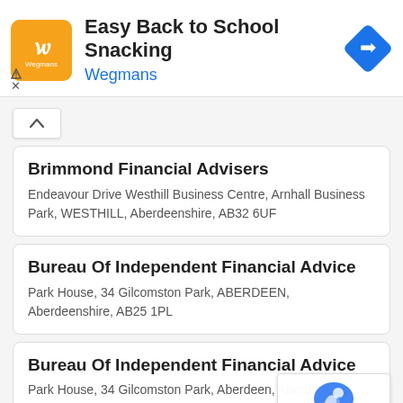[Figure (infographic): Advertisement banner: Wegmans logo (orange square with stylized 'W'), title 'Easy Back to School Snacking', brand name 'Wegmans' in blue, blue diamond navigation icon on the right, small ad attribution icons on the lower left.]
Brimmond Financial Advisers
Endeavour Drive Westhill Business Centre, Arnhall Business Park, WESTHILL, Aberdeenshire, AB32 6UF
Bureau Of Independent Financial Advice
Park House, 34 Gilcomston Park, ABERDEEN, Aberdeenshire, AB25 1PL
Bureau Of Independent Financial Advice
Park House, 34 Gilcomston Park, Aberdeen, Aberdeenshire, AB25 1PL